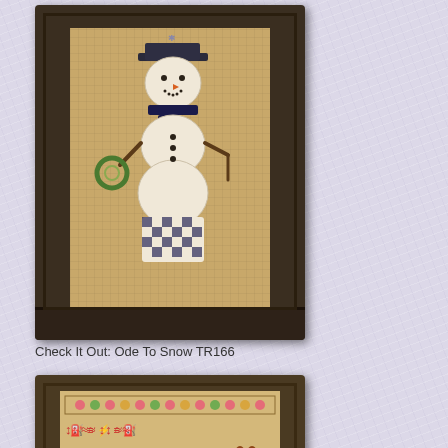[Figure (photo): Framed cross-stitch embroidery of a snowman with a top hat, scarf, and checkered pants on a burlap-colored background, displayed in a dark brown wooden frame]
Check It Out: Ode To Snow TR166
[Figure (photo): Framed cross-stitch Easter sampler featuring bunnies, Easter eggs, decorative borders with flowers, text reading PEEP PEEP, and a chocolate bunny, displayed in a dark brown wooden frame]